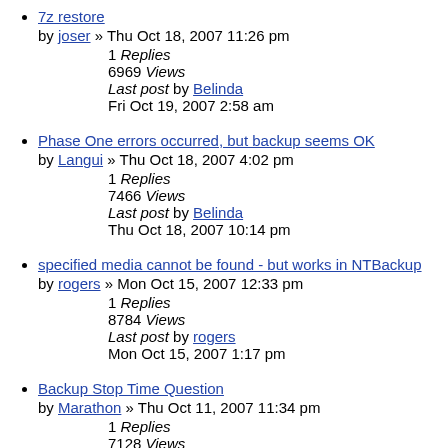7z restore by joser » Thu Oct 18, 2007 11:26 pm
1 Replies
6969 Views
Last post by Belinda
Fri Oct 19, 2007 2:58 am
Phase One errors occurred, but backup seems OK by Langui » Thu Oct 18, 2007 4:02 pm
1 Replies
7466 Views
Last post by Belinda
Thu Oct 18, 2007 10:14 pm
specified media cannot be found - but works in NTBackup by rogers » Mon Oct 15, 2007 12:33 pm
1 Replies
8784 Views
Last post by rogers
Mon Oct 15, 2007 1:17 pm
Backup Stop Time Question by Marathon » Thu Oct 11, 2007 11:34 pm
1 Replies
7128 Views